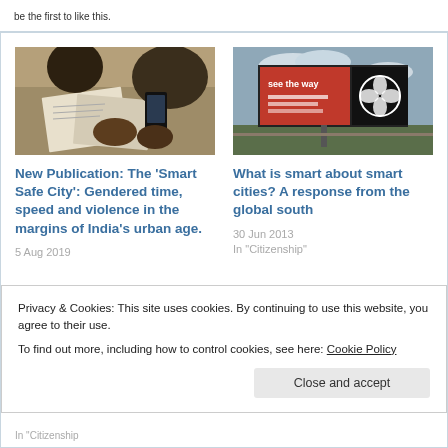be the first to like this.
[Figure (photo): People gathered around papers, writing, overhead view with warm tones]
New Publication: The ‘Smart Safe City’: Gendered time, speed and violence in the margins of India’s urban age.
5 Aug 2019
[Figure (photo): Billboard with red and black design, outdoor field setting]
What is smart about smart cities? A response from the global south
30 Jun 2013
In “Citizenship”
Privacy & Cookies: This site uses cookies. By continuing to use this website, you agree to their use.
To find out more, including how to control cookies, see here: Cookie Policy
Close and accept
In “Citizenship”